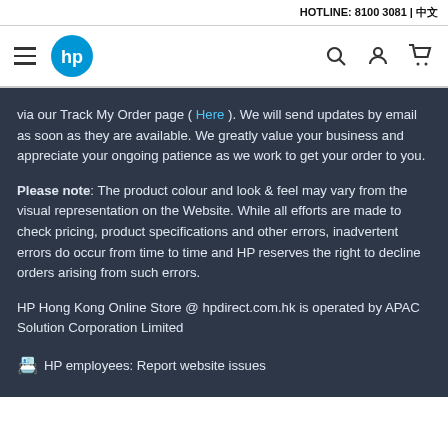HOTLINE: 8100 3081 | 中文
[Figure (logo): HP logo and navigation bar with hamburger menu, HP blue circular logo, search icon, user icon, and cart icon]
via our Track My Order page ( Here ). We will send updates by email as soon as they are available. We greatly value your business and appreciate your ongoing patience as we work to get your order to you.
Please note: The product colour and look & feel may vary from the visual representation on the Website. While all efforts are made to check pricing, product specifications and other errors, inadvertent errors do occur from time to time and HP reserves the right to decline orders arising from such errors.
HP Hong Kong Online Store @ hpdirect.com.hk is operated by APAC Solution Corporation Limited
👤 HP employees: Report website issues